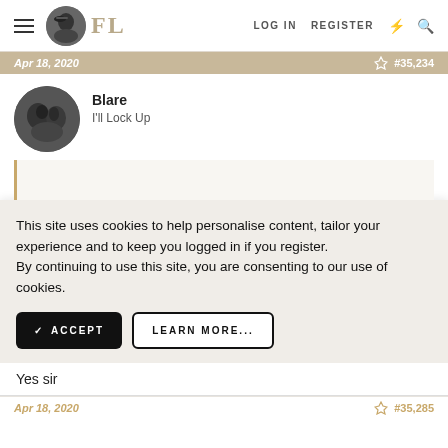FL — LOG IN  REGISTER
Apr 18, 2020  #35,234
Blare
I'll Lock Up
This site uses cookies to help personalise content, tailor your experience and to keep you logged in if you register. By continuing to use this site, you are consenting to our use of cookies.
✓ ACCEPT    LEARN MORE...
Yes sir
Apr 18, 2020  #35,285